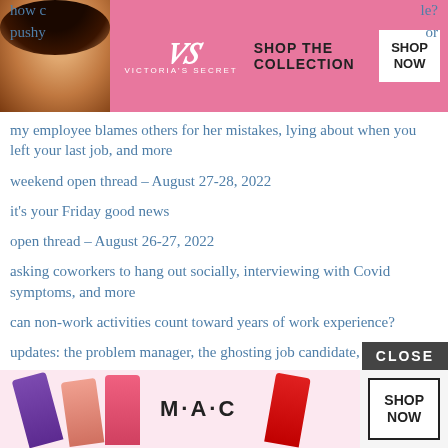[Figure (infographic): Victoria's Secret advertisement banner with model, VS logo, 'SHOP THE COLLECTION' text, and 'SHOP NOW' button on pink background. Partial text visible: 'how c...' and '...le?' on top, 'pushy...' and '...or' below.]
my employee blames others for her mistakes, lying about when you left your last job, and more
weekend open thread – August 27-28, 2022
it's your Friday good news
open thread – August 26-27, 2022
asking coworkers to hang out socially, interviewing with Covid symptoms, and more
can non-work activities count toward years of work experience?
updates: the problem manager, the ghosting job candidate, and more
how do I weigh the risks of staying where I am vs. changing fields?
I kept my ex-boss's affair a secret and now I work with her husband, my manager is upset about my new salary, and more
my manager says my shyness is seen as rudeness
can I p...
[Figure (infographic): MAC Cosmetics advertisement banner with lipsticks, MAC logo, 'SHOP NOW' button, and 'CLOSE' button overlay.]